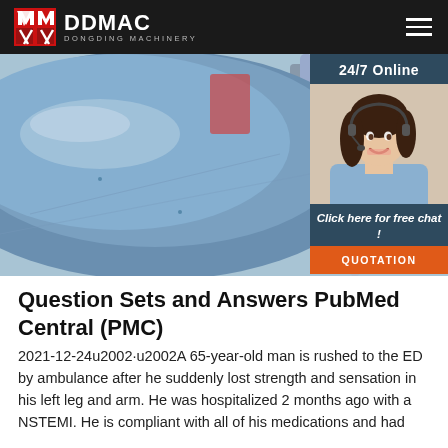DDMAC DONGDING MACHINERY
[Figure (photo): Industrial machinery - large cylindrical blue drum/dryer with pipes and industrial equipment in background, with a 24/7 Online customer service widget overlay showing a woman with headset]
Question Sets and Answers PubMed Central (PMC)
2021-12-24u2002·u2002A 65-year-old man is rushed to the ED by ambulance after he suddenly lost strength and sensation in his left leg and arm. He was hospitalized 2 months ago with a NSTEMI. He is compliant with all of his medications and had